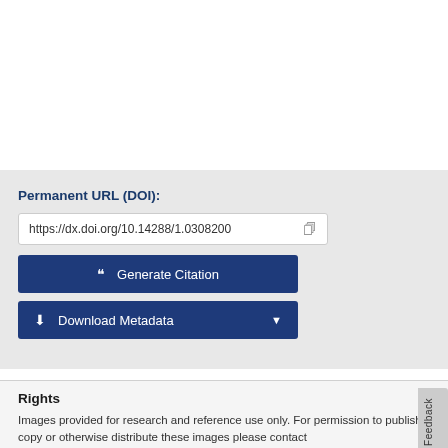Permanent URL (DOI):
https://dx.doi.org/10.14288/1.0308200
Generate Citation
Download Metadata
Rights
Images provided for research and reference use only. For permission to publish, copy or otherwise distribute these images please contact